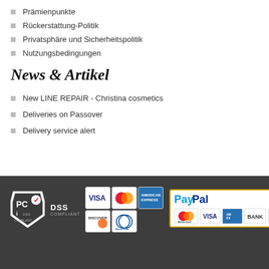Prämienpunkte
Rückerstattung-Politik
Privatsphäre und Sicherheitspolitik
Nutzungsbedingungen
News & Artikel
New LINE REPAIR - Christina cosmetics
Deliveries on Passover
Delivery service alert
[Figure (logo): Footer with PCI DSS Compliant badge, credit card logos (Visa, MasterCard, American Express, Discover, Diners Club), and PayPal payment group with MasterCard, Visa, American Express, Bank, Discover logos on dark gray background]